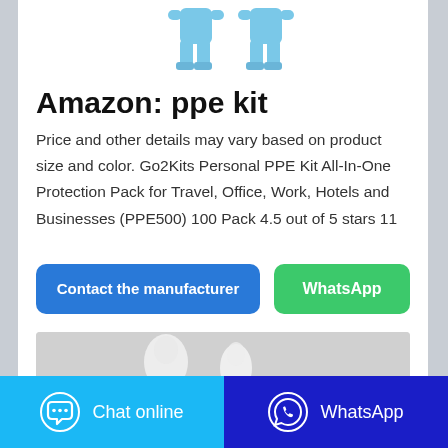[Figure (photo): Two blue PPE protective suit figures shown from the waist down]
Amazon: ppe kit
Price and other details may vary based on product size and color. Go2Kits Personal PPE Kit All-In-One Protection Pack for Travel, Office, Work, Hotels and Businesses (PPE500) 100 Pack 4.5 out of 5 stars 11
[Figure (screenshot): Contact the manufacturer button (blue) and WhatsApp button (green)]
[Figure (photo): Partial image of white PPE suits on grey background]
[Figure (screenshot): Bottom bar with Chat online (light blue) and WhatsApp (dark blue) buttons]